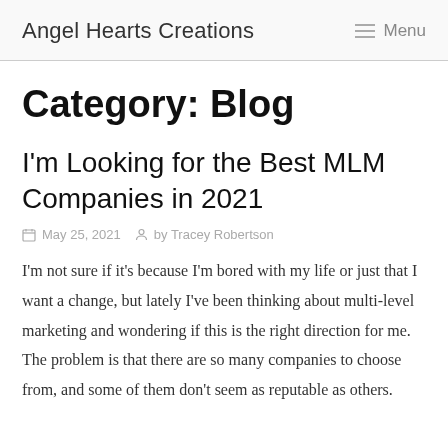Angel Hearts Creations   Menu
Category: Blog
I'm Looking for the Best MLM Companies in 2021
May 25, 2021   by Tracey Robertson
I'm not sure if it's because I'm bored with my life or just that I want a change, but lately I've been thinking about multi-level marketing and wondering if this is the right direction for me. The problem is that there are so many companies to choose from, and some of them don't seem as reputable as others.